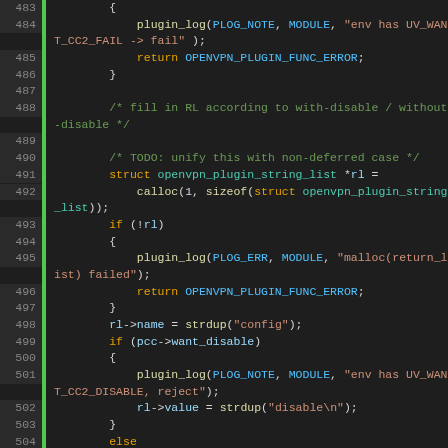[Figure (screenshot): Source code editor showing C code lines 483-510 with syntax highlighting. Dark theme with green gutter indicators, line numbers, and colored tokens for keywords, identifiers, strings, and comments.]